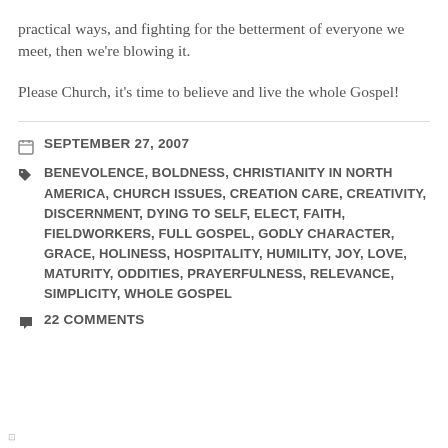practical ways, and fighting for the betterment of everyone we meet, then we're blowing it.
Please Church, it's time to believe and live the whole Gospel!
SEPTEMBER 27, 2007
BENEVOLENCE, BOLDNESS, CHRISTIANITY IN NORTH AMERICA, CHURCH ISSUES, CREATION CARE, CREATIVITY, DISCERNMENT, DYING TO SELF, ELECT, FAITH, FIELDWORKERS, FULL GOSPEL, GODLY CHARACTER, GRACE, HOLINESS, HOSPITALITY, HUMILITY, JOY, LOVE, MATURITY, ODDITIES, PRAYERFULNESS, RELEVANCE, SIMPLICITY, WHOLE GOSPEL
22 COMMENTS